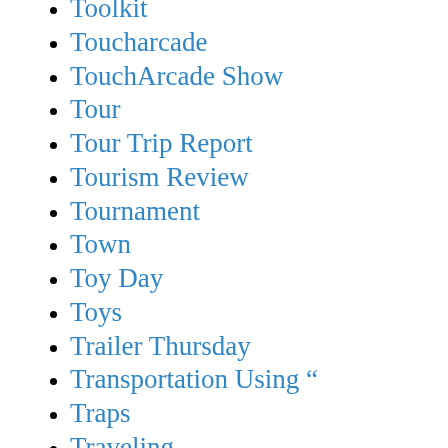Toolkit
Toucharcade
TouchArcade Show
Tour
Tour Trip Report
Tourism Review
Tournament
Town
Toy Day
Toys
Trailer Thursday
Transportation Using “
Traps
Traveling
Trees ’ Offers
Trek
Trigger Happy Havoc